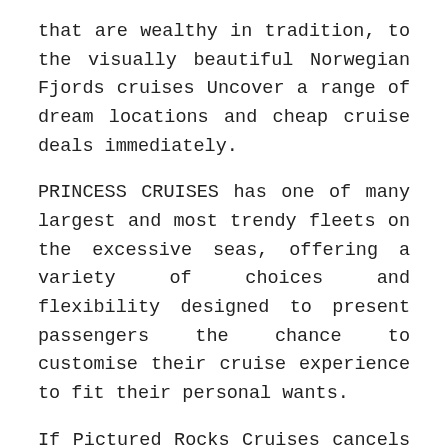that are wealthy in tradition, to the visually beautiful Norwegian Fjords cruises Uncover a range of dream locations and cheap cruise deals immediately.
PRINCESS CRUISES has one of many largest and most trendy fleets on the excessive seas, offering a variety of choices and flexibility designed to present passengers the chance to customise their cruise experience to fit their personal wants.
If Pictured Rocks Cruises cancels a cruise, you will be provided with a full refund. For the reason that many of the bookings of cruises are